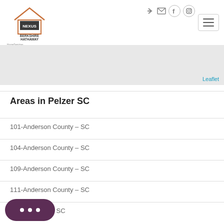[Figure (logo): Nexus Berkshire Hathaway HomeServices C. Dan Joyner REALTORS logo with house icon]
[Figure (screenshot): Navigation icons: sign-in arrow, envelope, Facebook circle, Instagram circle]
[Figure (screenshot): Hamburger menu button with three horizontal lines]
[Figure (map): Gray map area placeholder with Leaflet attribution link]
Areas in Pelzer SC
101-Anderson County - SC
104-Anderson County - SC
109-Anderson County - SC
111-Anderson County - SC
...ville County - SC